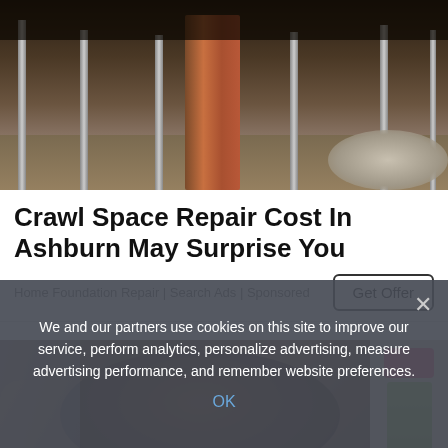[Figure (photo): Photo of a crawl space under a house showing brick pillars, steel support posts, and gravel ground]
Crawl Space Repair Cost In Ashburn May Surprise You
Home Foundation Repair | Search Ads | Sponsored
[Figure (photo): Student or person with brown hair and brown jacket, with a side panel showing educational materials]
We and our partners use cookies on this site to improve our service, perform analytics, personalize advertising, measure advertising performance, and remember website preferences.